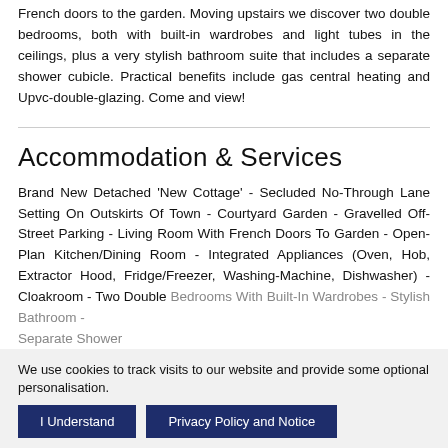French doors to the garden. Moving upstairs we discover two double bedrooms, both with built-in wardrobes and light tubes in the ceilings, plus a very stylish bathroom suite that includes a separate shower cubicle. Practical benefits include gas central heating and Upvc-double-glazing. Come and view!
Accommodation & Services
Brand New Detached 'New Cottage' - Secluded No-Through Lane Setting On Outskirts Of Town - Courtyard Garden - Gravelled Off-Street Parking - Living Room With French Doors To Garden - Open-Plan Kitchen/Dining Room - Integrated Appliances (Oven, Hob, Extractor Hood, Fridge/Freezer, Washing-Machine, Dishwasher) - Cloakroom - Two Double Bedrooms With Built-In Wardrobes - Stylish Bathroom - Separate Shower Cubicle - Gas Central Heating - Upvc Double Glazing
We use cookies to track visits to our website and provide some optional personalisation. [I Understand] [Privacy Policy and Notice]